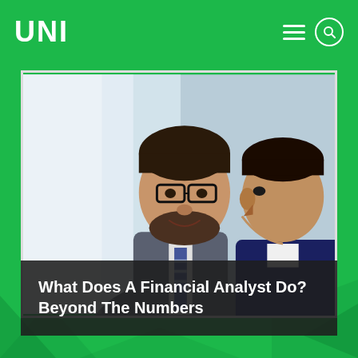UNI
[Figure (photo): Two businessmen in suits looking down at something together, one wearing glasses, indoor office/window background, professional setting]
What Does A Financial Analyst Do? Beyond The Numbers